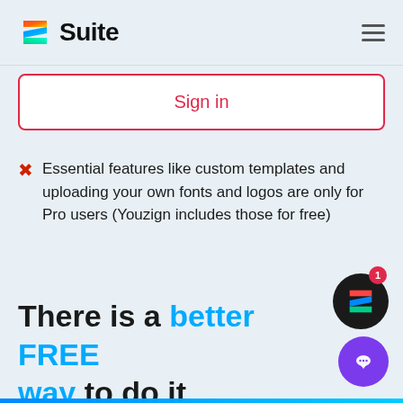Z Suite
[Figure (logo): Z Suite logo with colorful Z icon and bold black 'Suite' text]
Sign in
Essential features like custom templates and uploading your own fonts and logos are only for Pro users (Youzign includes those for free)
There is a better FREE way to do it.
[Figure (illustration): Dark circular badge with colorful Z logo and red notification badge showing '1']
[Figure (illustration): Purple circular chat button with speech bubble icon]